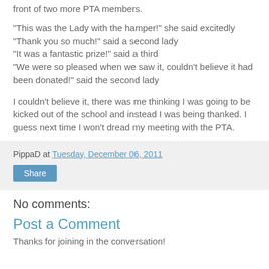front of two more PTA members.
"This was the Lady with the hamper!" she said excitedly
"Thank you so much!" said a second lady
"It was a fantastic prize!" said a third
"We were so pleased when we saw it, couldn't believe it had been donated!" said the second lady
I couldn't believe it, there was me thinking I was going to be kicked out of the school and instead I was being thanked. I guess next time I won't dread my meeting with the PTA.
PippaD at Tuesday, December 06, 2011
Share
No comments:
Post a Comment
Thanks for joining in the conversation!